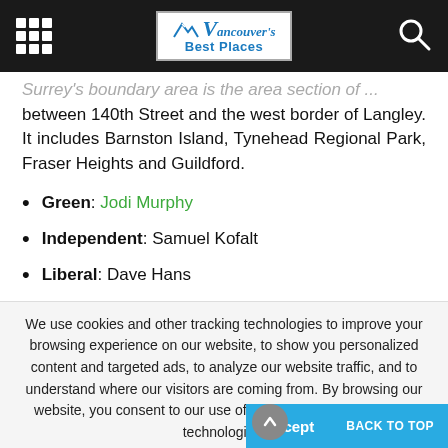Vancouver's Best Places
Surrey's boundary area is the area section of ... between 140th Street and the west border of Langley. It includes Barnston Island, Tynehead Regional Park, Fraser Heights and Guildford.
Green: Jodi Murphy
Independent: Samuel Kofalt
Liberal: Dave Hans
We use cookies and other tracking technologies to improve your browsing experience on our website, to show you personalized content and targeted ads, to analyze our website traffic, and to understand where our visitors are coming from. By browsing our website, you consent to our use of cookies and other tracking technologies.